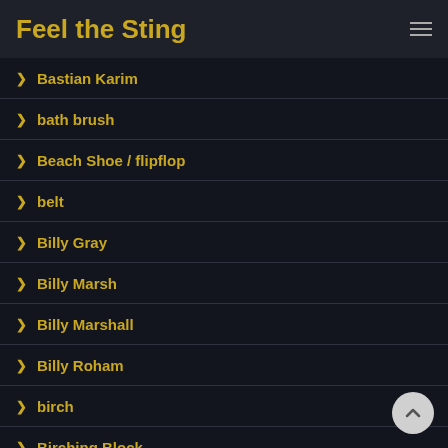Feel the Sting
Bastian Karim
bath brush
Beach Shoe / flipflop
belt
Billy Gray
Billy Marsh
Billy Marshall
Billy Roham
birch
Birching Block
Birching Table
Bob Stone